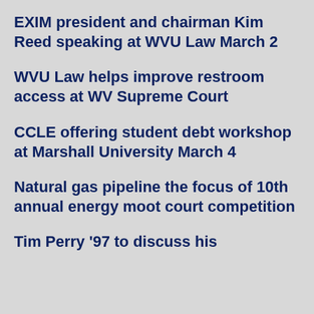EXIM president and chairman Kim Reed speaking at WVU Law March 2
WVU Law helps improve restroom access at WV Supreme Court
CCLE offering student debt workshop at Marshall University March 4
Natural gas pipeline the focus of 10th annual energy moot court competition
Tim Perry '97 to discuss his